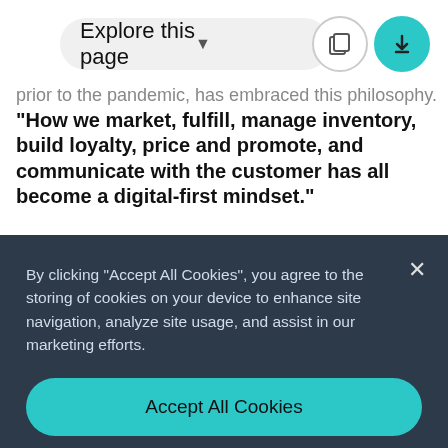[Figure (screenshot): Navigation bar with 'Explore this page' pill dropdown and two circular icon buttons (copy and download), the download button highlighted in cyan.]
prior to the pandemic, has embraced this philosophy. “How we market, fulfill, manage inventory, build loyalty, price and promote, and communicate with the customer has all become a digital-first mindset.”
By clicking “Accept All Cookies”, you agree to the storing of cookies on your device to enhance site navigation, analyze site usage, and assist in our marketing efforts.
Accept All Cookies
Cookies Settings